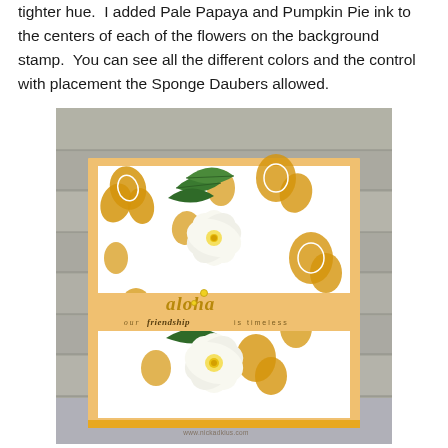tighter hue.  I added Pale Papaya and Pumpkin Pie ink to the centers of each of the flowers on the background stamp.  You can see all the different colors and the control with placement the Sponge Daubers allowed.
[Figure (photo): A handmade greeting card featuring a yellow-orange Hawaiian floral background stamp with white plumeria flowers and green tropical leaves layered on top. A banner reads 'aloha' in gold script and 'our friendship is timeless' below. Card is displayed against a gray wood plank background. Watermark: www.nickadkius.com]